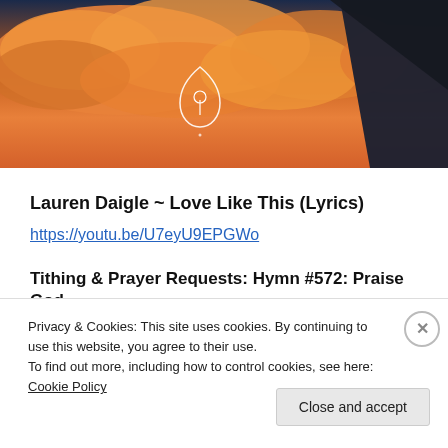[Figure (photo): Sunset or sunrise sky with orange clouds behind a dark triangular structure or building corner, with a white teardrop/leaf logo icon visible in the center of the image]
Lauren Daigle ~ Love Like This (Lyrics)
https://youtu.be/U7eyU9EPGWo
Tithing & Prayer Requests: Hymn #572: Praise God
Privacy & Cookies: This site uses cookies. By continuing to use this website, you agree to their use.
To find out more, including how to control cookies, see here: Cookie Policy
Close and accept